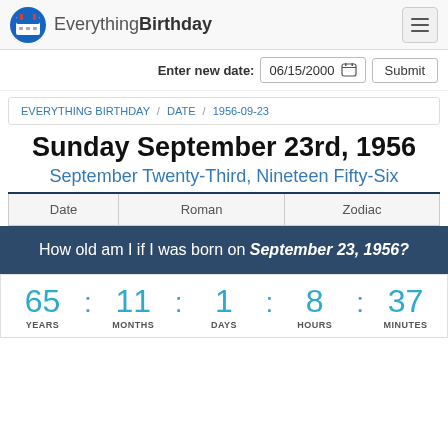EverythingBirthday
Enter new date: 06/15/2000  Submit
EVERYTHING BIRTHDAY / DATE / 1956-09-23
Sunday September 23rd, 1956
September Twenty-Third, Nineteen Fifty-Six
| Date | Roman | Zodiac |
| --- | --- | --- |
How old am I if I was born on September 23, 1956?
65 YEARS : 11 MONTHS : 1 DAYS : 8 HOURS : 37 MINUTES